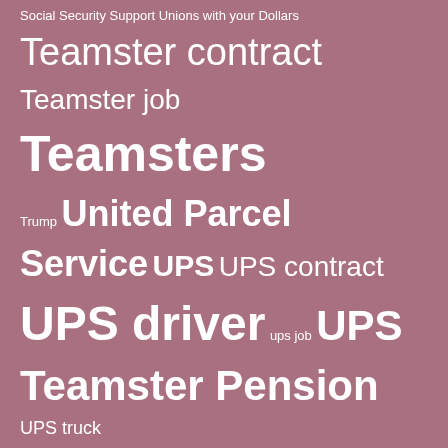Social Security Support Unions with your Dollars Teamster contract Teamster job Teamsters Trump United Parcel Service UPS UPS contract UPS driver ups job UPS Teamster Pension UPS truck
ARCHIVES
August 2022 (4)
July 2022 (5)
June 2022 (1)
May 2022 (1)
April 2022 (5)
March 2022 (3)